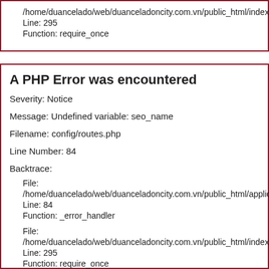/home/duancelado/web/duanceladoncity.com.vn/public_html/index
Line: 295
Function: require_once
A PHP Error was encountered
Severity: Notice
Message: Undefined variable: seo_name
Filename: config/routes.php
Line Number: 84
Backtrace:
File:
/home/duancelado/web/duanceladoncity.com.vn/public_html/applic
Line: 84
Function: _error_handler
File:
/home/duancelado/web/duanceladoncity.com.vn/public_html/index
Line: 295
Function: require_once